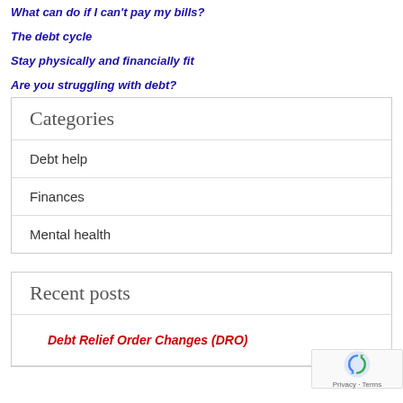What can do if I can't pay my bills?
The debt cycle
Stay physically and financially fit
Are you struggling with debt?
| Categories |
| --- |
| Debt help |
| Finances |
| Mental health |
| Recent posts |
| --- |
| Debt Relief Order Changes (DRO) |